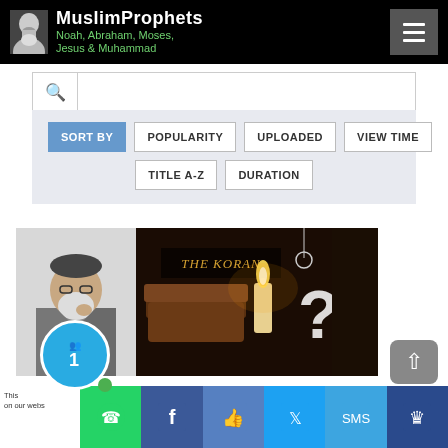MuslimProphets Noah, Abraham, Moses, Jesus & Muhammad
[Figure (screenshot): Search bar with magnifying glass icon]
[Figure (screenshot): Sort options panel: SORT BY, POPULARITY, UPLOADED, VIEW TIME, TITLE A-Z, DURATION buttons]
[Figure (photo): Two images side by side: left shows elderly bearded man in suit, right shows The Koran book with candle and question mark]
[Figure (screenshot): Social sharing bar at bottom with WhatsApp, Facebook, Like, Twitter, SMS icons and a notification bubble with 1]
This on our webs